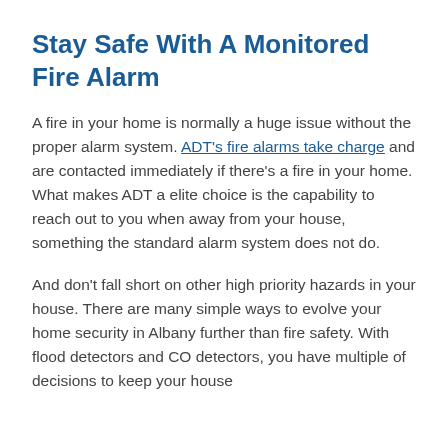Stay Safe With A Monitored Fire Alarm
A fire in your home is normally a huge issue without the proper alarm system. ADT's fire alarms take charge and are contacted immediately if there's a fire in your home. What makes ADT a elite choice is the capability to reach out to you when away from your house, something the standard alarm system does not do.
And don't fall short on other high priority hazards in your house. There are many simple ways to evolve your home security in Albany further than fire safety. With flood detectors and CO detectors, you have multiple of decisions to keep your house